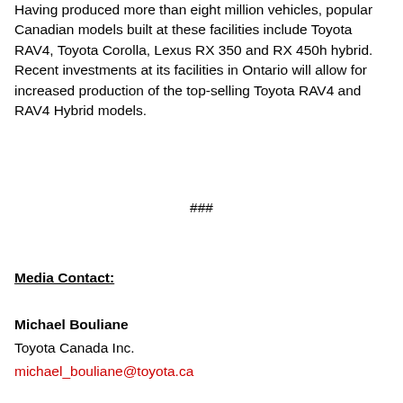Having produced more than eight million vehicles, popular Canadian models built at these facilities include Toyota RAV4, Toyota Corolla, Lexus RX 350 and RX 450h hybrid. Recent investments at its facilities in Ontario will allow for increased production of the top-selling Toyota RAV4 and RAV4 Hybrid models.
###
Media Contact:
Michael Bouliane
Toyota Canada Inc.
michael_bouliane@toyota.ca